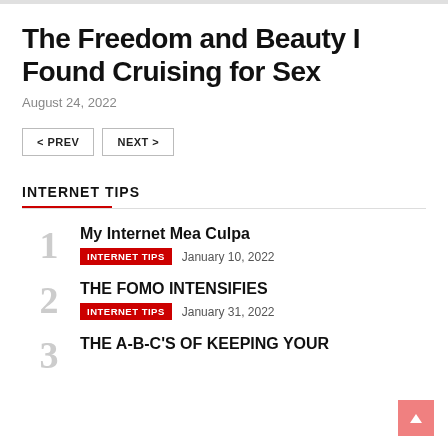The Freedom and Beauty I Found Cruising for Sex
August 24, 2022
< PREV   NEXT >
INTERNET TIPS
1 My Internet Mea Culpa INTERNET TIPS January 10, 2022
2 THE FOMO INTENSIFIES INTERNET TIPS January 31, 2022
3 THE A-B-C'S OF KEEPING YOUR